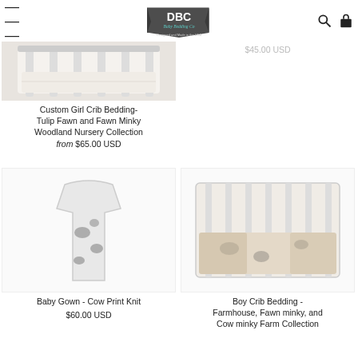DBC Baby Bedding Co — Designed and Made in the USA
[Figure (photo): Partial crib bedding product photo in white/grey tones, top-left]
Custom Girl Crib Bedding- Tulip Fawn and Fawn Minky Woodland Nursery Collection
from $65.00 USD
$45.00 USD (greyed out price, top right)
[Figure (photo): Baby Gown - Cow Print Knit product photo, bottom-left, white background]
Baby Gown - Cow Print Knit
$60.00 USD
[Figure (photo): Boy Crib Bedding - Farmhouse, Fawn minky, and Cow minky Farm Collection product photo, bottom-right, white background]
Boy Crib Bedding - Farmhouse, Fawn minky, and Cow minky Farm Collection